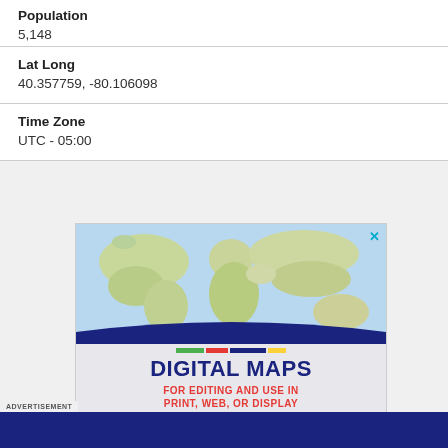Population
5,148
Lat Long
40.357759, -80.106098
Time Zone
UTC - 05:00
[Figure (infographic): Advertisement banner for Digital Maps product showing a world map image at top, colored bar (green, red, dark blue, yellow), large bold text 'DIGITAL MAPS', subtitle 'FOR EDITING AND USE IN PRINT, WEB, OR DISPLAY', and a yellow 'BUY HERE' button. Has a close X button in top right corner.]
ADVERTISEMENT